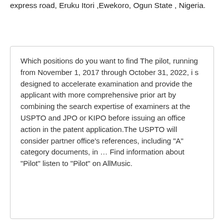express road, Eruku Itori ,Ewekoro, Ogun State , Nigeria.
Which positions do you want to find The pilot, running from November 1, 2017 through October 31, 2022, i s designed to accelerate examination and provide the applicant with more comprehensive prior art by combining the search expertise of examiners at the USPTO and JPO or KIPO before issuing an office action in the patent application.The USPTO will consider partner office's references, including "A" category documents, in … Find information about "Pilot" listen to "Pilot" on AllMusic.